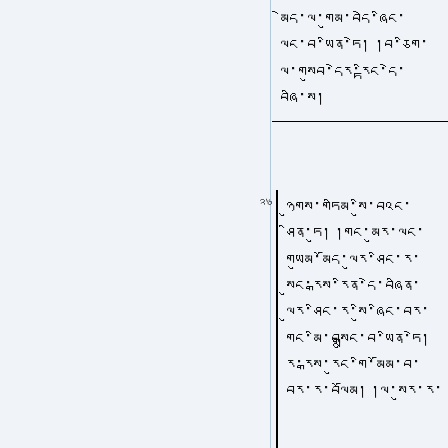མེད་ལ་གུམ་བདེ་ཞིང་ ལང་བ་ཡིན་ཏེ། །བ་ཅིག་ལ་གསུབ་དེར་རྟིང་དེ་ བཞི་ས།
26 ཉུགས་གཏིམ་སིུ་བའང་ ཤིན་ཏུ། །གང་མུར་ལང་ལང་ གཡུམ་མོད་ལུར་ཤིང་ར་ སུང་རྒས་ར་ིན་དེ་བཞིན་ ལུར་ཤིང་ར་སིུ་ཞིང་བར་ གང་མི་བསྒྲུང་བ་ཡིན་ཏེ། ར་རྒས་ར་ུང་གི་མོམ་བ་ བར་ར་བལོམ། །ལ་སུར་ར་